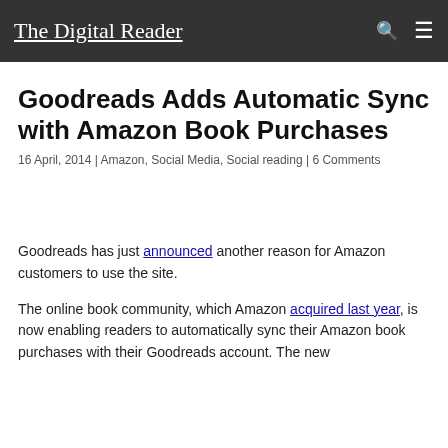The Digital Reader
Goodreads Adds Automatic Sync with Amazon Book Purchases
16 April, 2014 | Amazon, Social Media, Social reading | 6 Comments
Goodreads has just announced another reason for Amazon customers to use the site.
The online book community, which Amazon acquired last year, is now enabling readers to automatically sync their Amazon book purchases with their Goodreads account. The new